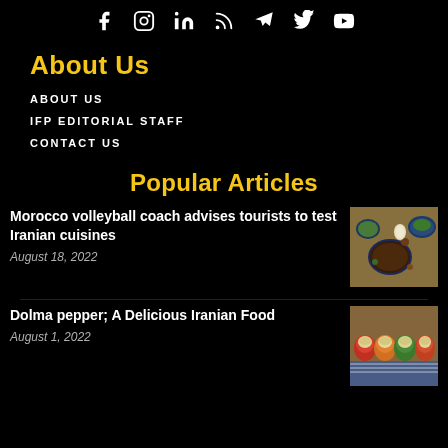Social media icons: Facebook, Instagram, LinkedIn, RSS, Telegram, Twitter, YouTube
About Us
ABOUT US
IFP EDITORIAL STAFF
CONTACT US
Popular Articles
Morocco volleyball coach advises tourists to test Iranian cuisines
August 18, 2022
[Figure (photo): Overhead view of Iranian cuisine dishes in blue bowls with vegetables and herbs]
Dolma pepper; A Delicious Iranian Food
August 1, 2022
[Figure (photo): Stuffed dolma peppers arranged on a decorative plate with colorful pattern]